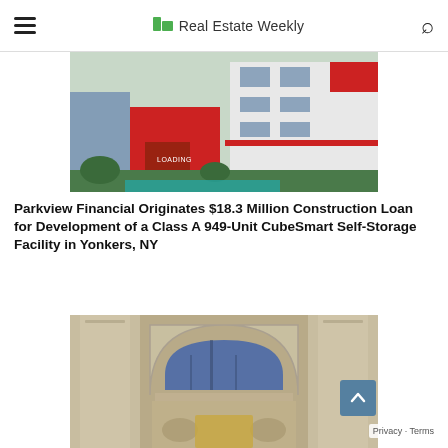Real Estate Weekly
[Figure (photo): Rendering of a modern commercial/storage facility building with red and white facade, featuring LOADING signage and landscaping]
Parkview Financial Originates $18.3 Million Construction Loan for Development of a Class A 949-Unit CubeSmart Self-Storage Facility in Yonkers, NY
[Figure (photo): Close-up of an ornate classical building facade with arched window, decorative stone columns and molding]